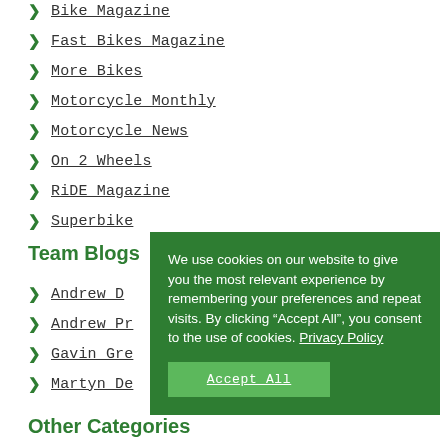Bike Magazine
Fast Bikes Magazine
More Bikes
Motorcycle Monthly
Motorcycle News
On 2 Wheels
RiDE Magazine
Superbike
Team Blogs
Andrew D
Andrew Pr
Gavin Gre
Martyn De
We use cookies on our website to give you the most relevant experience by remembering your preferences and repeat visits. By clicking “Accept All”, you consent to the use of cookies. Privacy Policy
Accept All
Other Categories